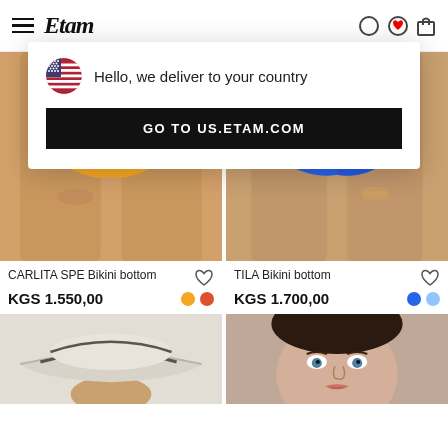Etam
Hello, we deliver to your country
GO TO US.ETAM.COM
[Figure (photo): Yellow polka dot bikini bottom on model]
CARLITA SPE Bikini bottom
KGS 1.550,00
[Figure (photo): Blue bikini bottom on model]
TILA Bikini bottom
KGS 1.700,00
[Figure (photo): Beige sun visor hat]
[Figure (photo): Woman model close up face]